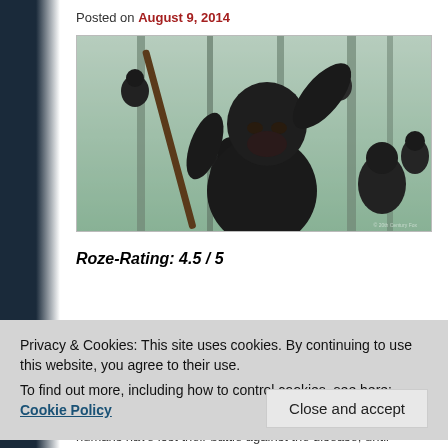Posted on August 9, 2014
[Figure (photo): Scene from Dawn of the Planet of the Apes showing a large chimpanzee in the foreground raising its arm, holding a wooden staff, with many other apes visible in a forest background.]
Roze-Rating: 4.5 / 5
Privacy & Cookies: This site uses cookies. By continuing to use this website, you agree to their use. To find out more, including how to control cookies, see here: Cookie Policy
humans have lost their battle against the disease, until